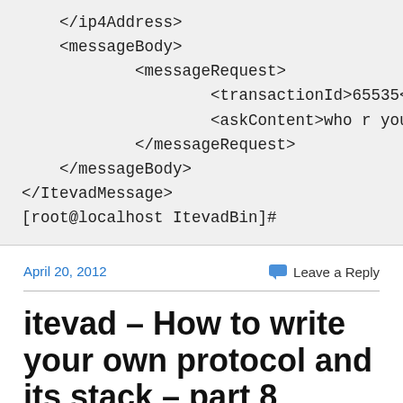<portNumber>65535</portNumber>
    </ip4Address>
    <messageBody>
            <messageRequest>
                    <transactionId>65535</transac
                    <askContent>who r you?</askCo
            </messageRequest>
    </messageBody>
</ItevadMessage>
[root@localhost ItevadBin]#
April 20, 2012
Leave a Reply
itevad – How to write your own protocol and its stack – part 8